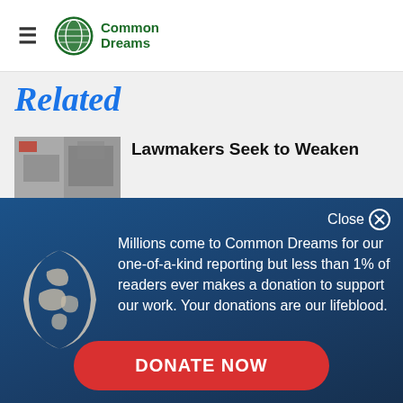Common Dreams
Related
Lawmakers Seek to Weaken
Millions come to Common Dreams for our one-of-a-kind reporting but less than 1% of readers ever makes a donation to support our work. Your donations are our lifeblood.
Close
DONATE NOW